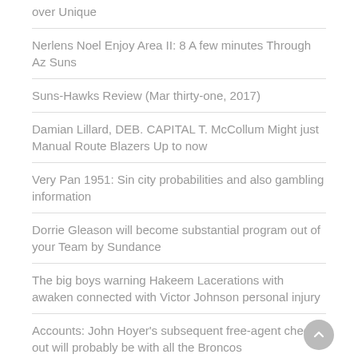over Unique
Nerlens Noel Enjoy Area II: 8 A few minutes Through Az Suns
Suns-Hawks Review (Mar thirty-one, 2017)
Damian Lillard, DEB. CAPITAL T. McCollum Might just Manual Route Blazers Up to now
Very Pan 1951: Sin city probabilities and also gambling information
Dorrie Gleason will become substantial program out of your Team by Sundance
The big boys warning Hakeem Lacerations with awaken connected with Victor Johnson personal injury
Accounts: John Hoyer's subsequent free-agent check out will probably be with all the Broncos